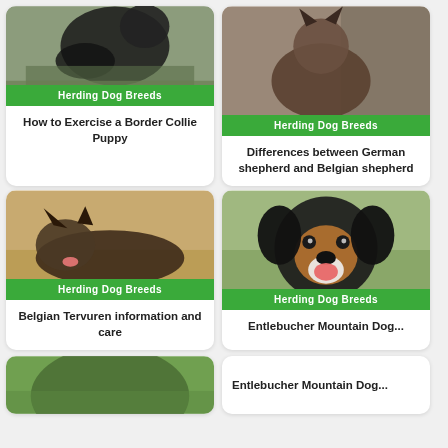[Figure (photo): Border Collie puppy photo with green Herding Dog Breeds badge]
How to Exercise a Border Collie Puppy
[Figure (photo): German Shepherd dog photo with green Herding Dog Breeds badge]
Differences between German shepherd and Belgian shepherd
[Figure (photo): Belgian Tervuren dog lying in grass with green Herding Dog Breeds badge]
Belgian Tervuren information and care
[Figure (photo): Entlebucher Mountain Dog puppy smiling with green Herding Dog Breeds badge]
Entlebucher Mountain Dog...
[Figure (photo): Partial dog photo at bottom left]
Entlebucher Mountain Dog...